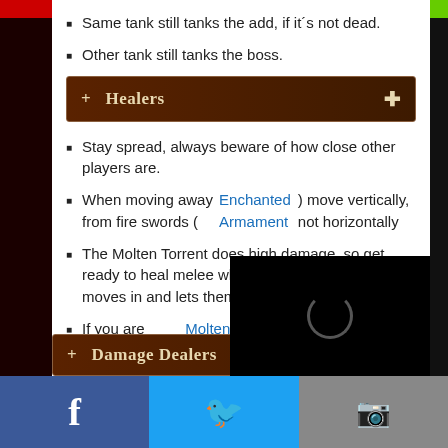Same tank still tanks the add, if it's not dead.
Other tank still tanks the boss.
+ Healers +
Stay spread, always beware of how close other players are.
When moving away from fire swords (Enchanted Armament) move vertically, not horizontally
The Molten Torrent does high damage, so get ready to heal melee when the person that has it moves in and lets them help with soaking it.
If you are targeted by Molten Core, move to melee group, for soaking.
+ Damage Dealers